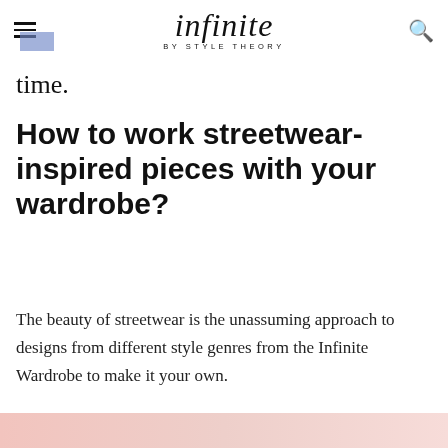infinite BY STYLE THEORY
time.
How to work streetwear-inspired pieces with your wardrobe?
The beauty of streetwear is the unassuming approach to designs from different style genres from the Infinite Wardrobe to make it your own.